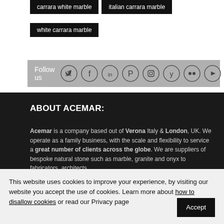carrara white marble
italian carrara marble
white carrara marble
[Figure (infographic): Follow us social media icons bar with icons for Twitter, Facebook, LinkedIn, Pinterest, Instagram, Yelp, Flickr, YouTube]
ABOUT ACEMAR:
Acemar is a company based out of Verona Italy & London, UK. We operate as a family business, with the scale and flexibility to service a great number of clients across the globe. We are suppliers of bespoke natural stone such as marble, granite and onyx to fabricators, architects
This website uses cookies to improve your experience, by visiting our website you accept the use of cookies. Learn more about how to disallow cookies or read our Privacy page   Accept